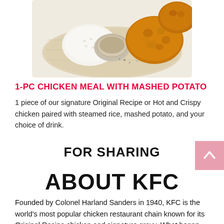[Figure (photo): KFC 1-PC Chicken Meal with Mashed Potato — fried chicken piece, steamed rice mound, bowl of gravy/sauce on a wooden board, top-down angle]
1-PC CHICKEN MEAL WITH MASHED POTATO
1 piece of our signature Original Recipe or Hot and Crispy chicken paired with steamed rice, mashed potato, and your choice of drink.
FOR SHARING
ABOUT KFC
Founded by Colonel Harland Sanders in 1940, KFC is the world's most popular chicken restaurant chain known for its Original Recipe chicken and signature gravy. What began as one restaurant in Kentucky has grown to over 21,000 restaurants in over 130 countries.